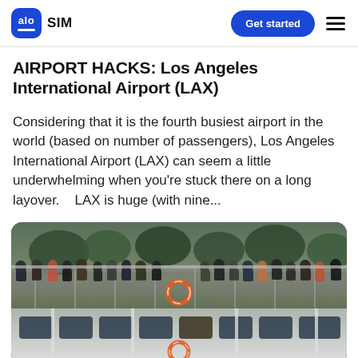alo SIM — Get started
AIRPORT HACKS: Los Angeles International Airport (LAX)
Considering that it is the fourth busiest airport in the world (based on number of passengers), Los Angeles International Airport (LAX) can seem a little underwhelming when you're stuck there on a long layover.    LAX is huge (with nine...
[Figure (photo): Crowd of people standing on the deck of a boat/ferry vessel, photographed at dusk or evening. A life preserver ring is visible. The boat has large windows along its lower level.]